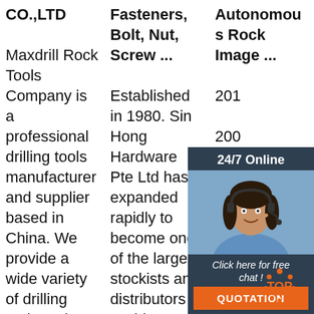CO.,LTD

Maxdrill Rock Tools Company is a professional drilling tools manufacturer and supplier based in China. We provide a wide variety of drilling tools and anchor tools, such as top hammer drilling tools, down the hole drilling tools, rock anchors, taphole and q
Fasteners, Bolt, Nut, Screw ...

Established in 1980. Sin Hong Hardware Pte Ltd has expanded rapidly to become one of the largest stockists and distributors of a wide range of industrial fasteners, and a specialist in Standard, Non-standard and custo
Autonomous Rock Image ...

2018-200 tono mag on d the obo cal enlarge the scientific returns, both in investigation on Earth and planetary surface ex
[Figure (other): Live chat widget with 24/7 Online label, photo of a woman with headset, 'Click here for free chat!' text, and orange QUOTATION button]
[Figure (logo): TOP logo with orange dots forming circular pattern]